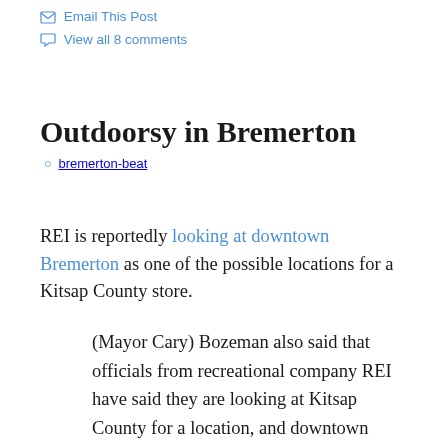Email This Post
View all 8 comments
Outdoorsy in Bremerton
bremerton-beat
REI is reportedly looking at downtown Bremerton as one of the possible locations for a Kitsap County store.
(Mayor Cary) Bozeman also said that officials from recreational company REI have said they are looking at Kitsap County for a location, and downtown Bremerton is among the